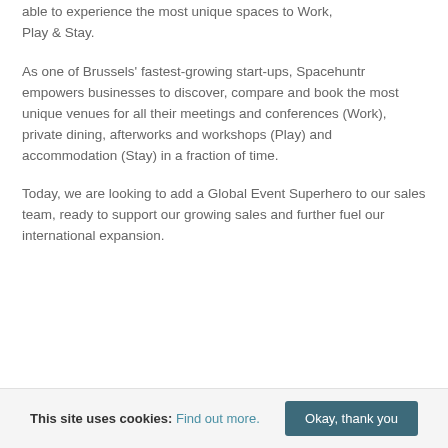able to experience the most unique spaces to Work, Play & Stay.
As one of Brussels' fastest-growing start-ups, Spacehuntr empowers businesses to discover, compare and book the most unique venues for all their meetings and conferences (Work), private dining, afterworks and workshops (Play) and accommodation (Stay) in a fraction of time.
Today, we are looking to add a Global Event Superhero to our sales team, ready to support our growing sales and further fuel our international expansion.
This site uses cookies: Find out more. Okay, thank you